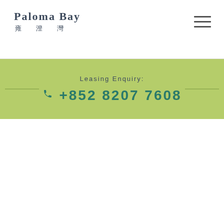[Figure (logo): Paloma Bay logo with English text 'PALOMA BAY' and Chinese characters '雍 澄 灣']
[Figure (other): Hamburger menu icon with three horizontal lines]
Leasing Enquiry:
+852 8207 7608